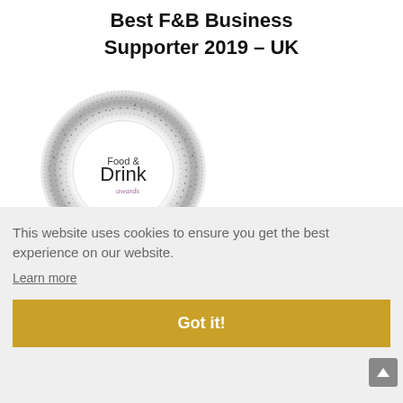Best F&B Business Supporter 2019 - UK
[Figure (logo): Food & Drink awards logo — circular white badge with 'Food & Drink awards' text surrounded by a speckled dark halo effect]
This website uses cookies to ensure you get the best experience on our website.
Learn more
Got it!